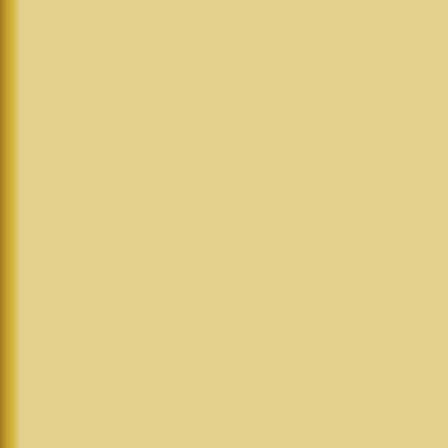on the Sonoma Coast
[Figure (photo): Two monks in orange robes walking on a dirt path through green forest/woodland]
Dhammadharini Bhikkhuni Sangha KATHINA
“Offering the Robe of Merit”
Saturday, October 17th
join LIVE online
Registration &